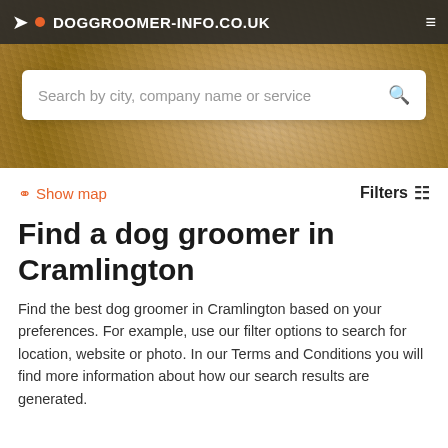DOGGROOMER-INFO.CO.UK
Search by city, company name or service
Show map
Filters
Find a dog groomer in Cramlington
Find the best dog groomer in Cramlington based on your preferences. For example, use our filter options to search for location, website or photo. In our Terms and Conditions you will find more information about how our search results are generated.
Add your company
It's free →